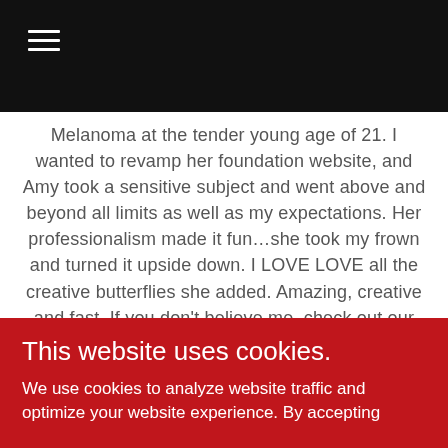☰ (hamburger menu icon)
Melanoma at the tender young age of 21. I wanted to revamp her foundation website, and Amy took a sensitive subject and went above and beyond all limits as well as my expectations. Her professionalism made it fun…she took my frown and turned it upside down. I LOVE LOVE all the creative butterflies she added. Amazing, creative and fast. If you don't believe me, check out our website…and get educated about Melanoma. Most
This website uses cookies.
We use cookies to analyze website traffic and optimize your website experience. By accepting